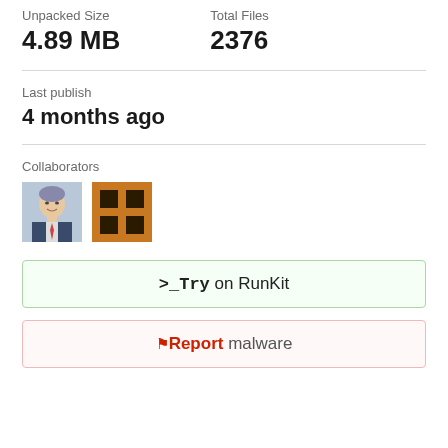Unpacked Size
Total Files
4.89 MB
2376
Last publish
4 months ago
Collaborators
[Figure (photo): Two collaborator avatar images: a photo of a man in a suit on the left, and an orange icon/logo on the right]
>_Try on RunKit
Report malware